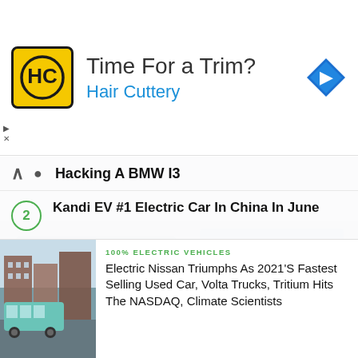[Figure (other): Hair Cuttery advertisement banner with yellow logo, arrow icon, text 'Time For a Trim?' and 'Hair Cuttery']
Hacking A BMW I3
2 Kandi EV #1 Electric Car In China In June
3 Electric Car Cost Vs Gas (Calculators)
4 Chevy Bolt Dimension Comparison With Other Popular Models
5 Interactive Infographic Of The Tesla Model S
[Figure (photo): Electric bus on a city street with brick buildings]
100% ELECTRIC VEHICLES
Electric Nissan Triumphs As 2021'S Fastest Selling Used Car, Volta Trucks, Tritium Hits The NASDAQ, Climate Scientists